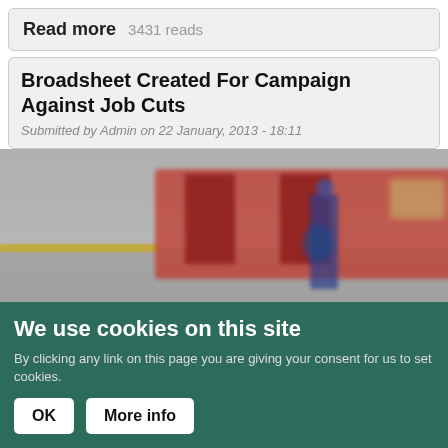Read more   3431 reads
Broadsheet Created For Campaign Against Job Cuts
Submitted by Admin on 22 January, 2013 - 18:11
[Figure (photo): Blurred photo of a London Underground platform with red train and a person standing on the platform]
We use cookies on this site
By clicking any link on this page you are giving your consent for us to set cookies.
OK
More info